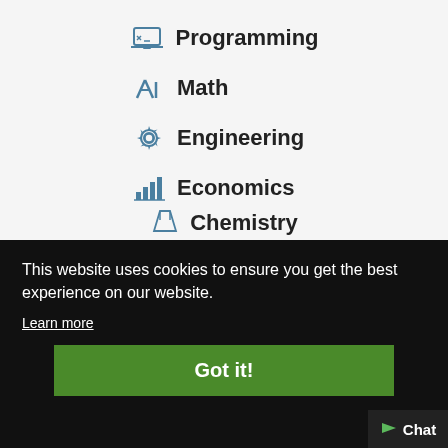Programming
Math
Engineering
Economics
Physics
Chemistry
This website uses cookies to ensure you get the best experience on our website.
Learn more
Got it!
Chat